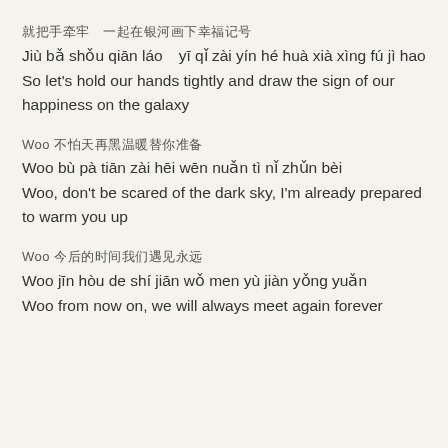就把手牵牢　一起在银河画下幸福记号
Jiù bǎ shǒu qiān láo　yī qǐ zài yín hé huà xià xìng fú jì hao
So let's hold our hands tightly and draw the sign of our happiness on the galaxy
Woo 不怕天再黑温暖替你准备
Woo bù pà tiān zài hēi wēn nuǎn tì nǐ zhǔn bèi
Woo, don't be scared of the dark sky, I'm already prepared to warm you up
Woo 今后的时间我们遇见永远
Woo jīn hòu de shí jiān wǒ men yù jiàn yǒng yuǎn
Woo from now on, we will always meet again forever